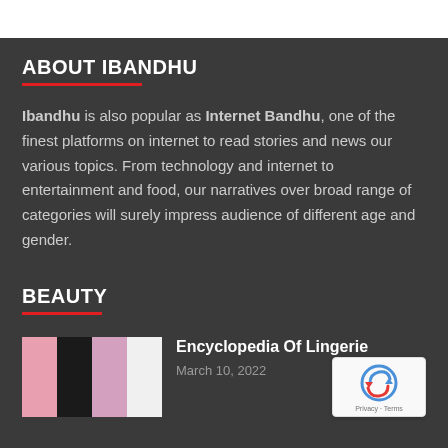ABOUT IBANDHU
Ibandhu is also popular as Internet Bandhu, one of the finest platforms on internet to read stories and news our various topics. From technology and internet to entertainment and food, our narratives over broad range of categories will surely impress audience of different age and gender.
BEAUTY
[Figure (photo): Thumbnail image showing multiple women posing, related to lingerie article]
Encyclopedia Of Lingerie
March 10, 2022
[Figure (logo): reCAPTCHA badge with Privacy and Terms text]